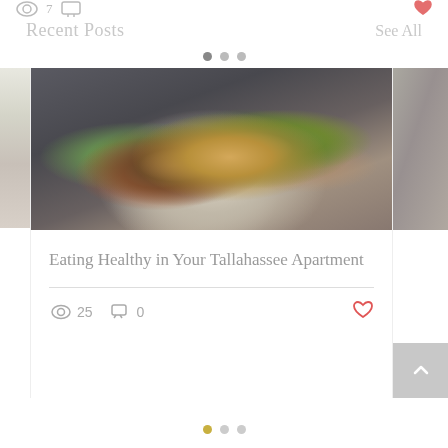Recent Posts
See All
[Figure (photo): Food photo showing a colorful salad with greens, tomatoes, and a purple flower on a white plate, with a fork, on a wooden table, with gray background.]
Eating Healthy in Your Tallahassee Apartment
25
0